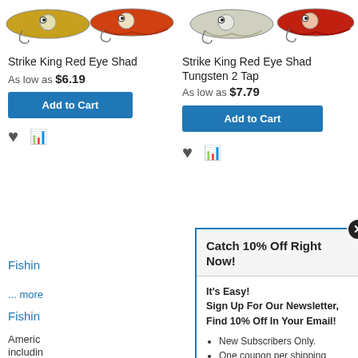[Figure (photo): Fishing lures displayed across the top of the page, two groups]
Strike King Red Eye Shad
As low as $6.19
Add to Cart
Strike King Red Eye Shad Tungsten 2 Tap
As low as $7.79
Add to Cart
Fishin...
... more
Fishin...
Americ... ckle, includin... age,
Catch 10% Off Right Now!
It's Easy!
Sign Up For Our Newsletter,
Find 10% Off In Your Email!
New Subscribers Only.
One coupon per shipping address.